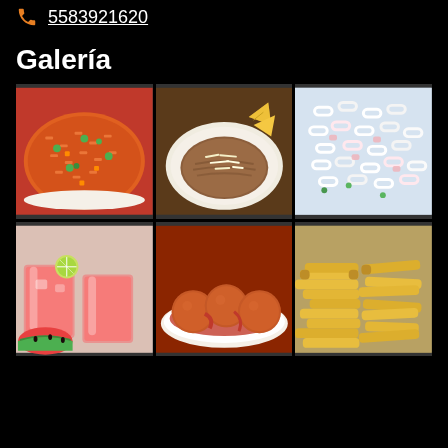5583921620
Galería
[Figure (photo): 3x2 grid of Mexican food photos: (1) Mexican red rice with peas and carrots, (2) refried beans with cheese and tortilla chips, (3) macaroni pasta salad with cream sauce, (4) watermelon agua fresca drinks with lime, (5) albondigas (meatballs) in tomato sauce on a plate, (6) french fries]
Galería de alimentos